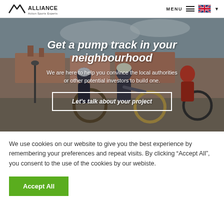ALLIANCE Action Sports Experts — MENU
[Figure (photo): Three young people with bikes and helmets on a rooftop with buildings and cloudy sky in background, forming the hero image background]
Get a pump track in your neighbourhood
We are here to help you convince the local authorities or other potential investors to build one.
Let's talk about your project
We use cookies on our website to give you the best experience by remembering your preferences and repeat visits. By clicking “Accept All”, you consent to the use of the cookies by our webiste.
Accept All